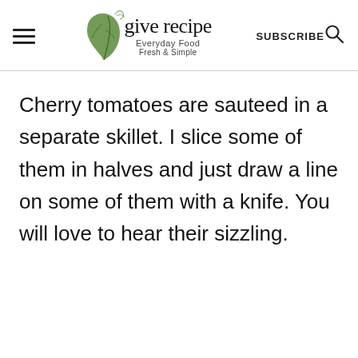give recipe — Everyday Food Fresh & Simple | SUBSCRIBE
Cherry tomatoes are sauteed in a separate skillet. I slice some of them in halves and just draw a line on some of them with a knife. You will love to hear their sizzling.